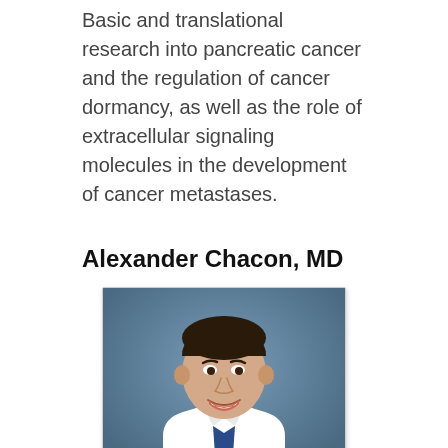Basic and translational research into pancreatic cancer and the regulation of cancer dormancy, as well as the role of extracellular signaling molecules in the development of cancer metastases.
Alexander Chacon, MD
[Figure (photo): Professional headshot of Alexander Chacon, MD, wearing a white lab coat and dark tie, smiling, against a gray-blue background.]
Research Interest
Basic science and translational research on the role of diet, patient characteristics, and the microbiome